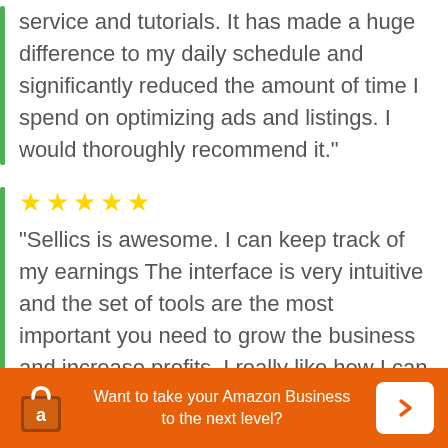service and tutorials. It has made a huge difference to my daily schedule and significantly reduced the amount of time I spend on optimizing ads and listings. I would thoroughly recommend it."
[Figure (other): Five gold star rating]
"Sellics is awesome. I can keep track of my earnings The interface is very intuitive and the set of tools are the most important you need to grow the business and increase profits. I really like how I can see if I'm making a profit or not. Many Amazon sellers lose
Want to take your Amazon Business to the next level?